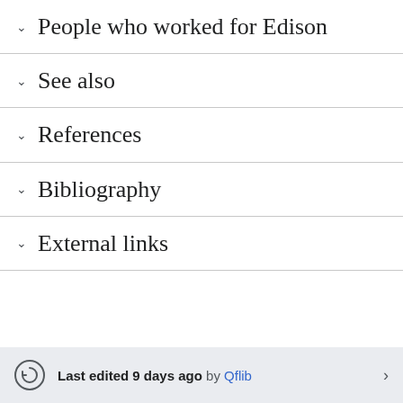People who worked for Edison
See also
References
Bibliography
External links
Last edited 9 days ago by Qflib